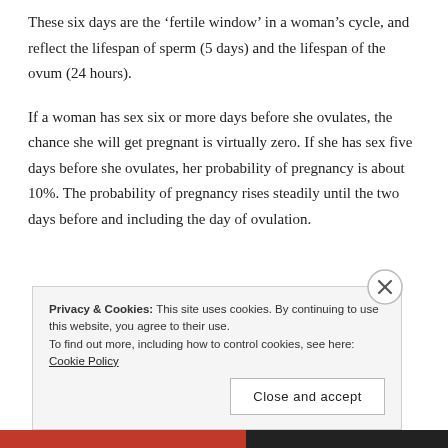These six days are the 'fertile window' in a woman's cycle, and reflect the lifespan of sperm (5 days) and the lifespan of the ovum (24 hours).
If a woman has sex six or more days before she ovulates, the chance she will get pregnant is virtually zero. If she has sex five days before she ovulates, her probability of pregnancy is about 10%. The probability of pregnancy rises steadily until the two days before and including the day of ovulation.
Privacy & Cookies: This site uses cookies. By continuing to use this website, you agree to their use.
To find out more, including how to control cookies, see here: Cookie Policy